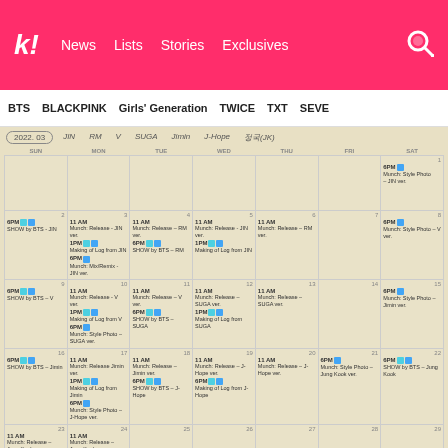k! News Lists Stories Exclusives
BTS BLACKPINK Girls' Generation TWICE TXT SEVE
[Figure (other): BTS 2022.03 monthly schedule calendar showing daily events including SHOW by BTS episodes, Munch releases, Style Photos, and Making of Log From content for each BTS member (JIN, RM, V, SUGA, Jimin, J-Hope, Jung Kook)]
*International Schedule • Times show a subject to change. *This schedule is subject to change.